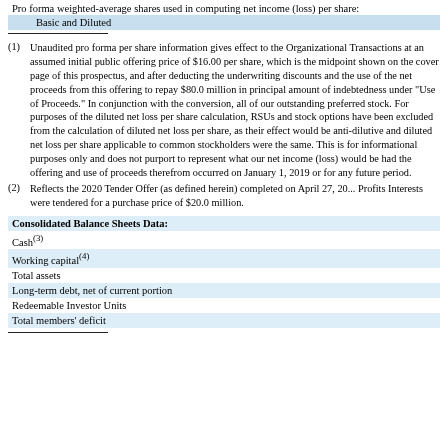| Pro forma weighted-average shares used in computing net income (loss) per share: |  |
| --- | --- |
| Basic and Diluted |  |
(1) Unaudited pro forma per share information gives effect to the Organizational Transactions at an assumed initial public offering price of $16.00 per share, which is the midpoint shown on the cover page of this prospectus, and after deducting the underwriting discounts and the use of the net proceeds from this offering to repay $80.0 million in principal amount of indebtedness under "Use of Proceeds." In conjunction with the conversion, all of our outstanding preferred stock. For purposes of the diluted net loss per share calculation, RSUs and stock options have been excluded from the calculation of diluted net loss per share, as their effect would be anti-dilutive and diluted net loss per share applicable to common stockholders were the same. This is for informational purposes only and does not purport to represent what our net income (loss) would be had the offering and use of proceeds therefrom occurred on January 1, 2019 or for any future period.
(2) Reflects the 2020 Tender Offer (as defined herein) completed on April 27, 20... Profits Interests were tendered for a purchase price of $20.0 million.
| Consolidated Balance Sheets Data: |
| --- |
| Cash(3) |
| Working capital(4) |
| Total assets |
| Long-term debt, net of current portion |
| Redeemable Investor Units |
| Total members' deficit |